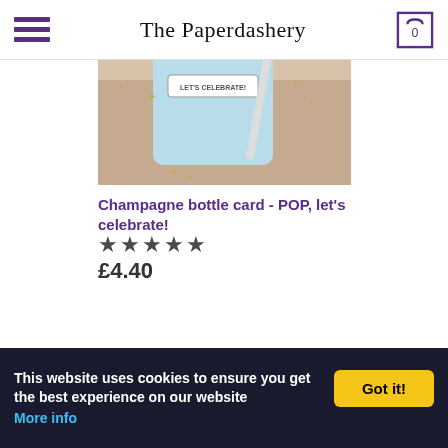The Paperdashery
[Figure (photo): Photo of a light blue champagne bottle greeting card with 'Let's Celebrate' text on a furry background with a pencil and gold star confetti]
Champagne bottle card - POP, let's celebrate!
★★★★★
£4.40
Recent Posts
How to make an origami star for Christmas
This website uses cookies to ensure you get the best experience on our website More info